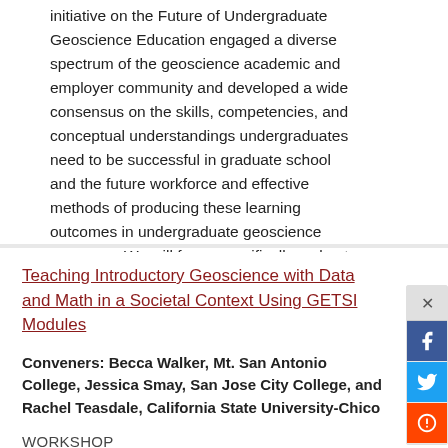initiative on the Future of Undergraduate Geoscience Education engaged a diverse spectrum of the geoscience academic and employer community and developed a wide consensus on the skills, competencies, and conceptual understandings undergraduates need to be successful in graduate school and the future workforce and effective methods of producing these learning outcomes in undergraduate geoscience programs. We will focus specifically on best practices for implementing such changes in departments.
Teaching Introductory Geoscience with Data and Math in a Societal Context Using GETSI Modules
Conveners: Becca Walker, Mt. San Antonio College, Jessica Smay, San Jose City College, and Rachel Teasdale, California State University-Chico
WORKSHOP